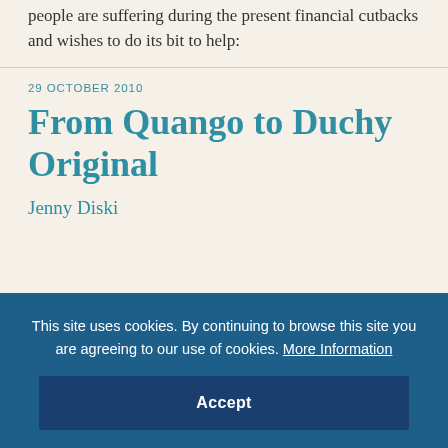people are suffering during the present financial cutbacks and wishes to do its bit to help:
29 OCTOBER 2010
From Quango to Duchy Original
Jenny Diski
This site uses cookies. By continuing to browse this site you are agreeing to our use of cookies. More Information
Accept